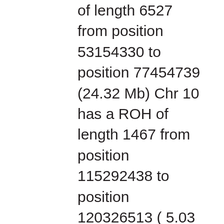of length 6527 from position 53154330 to position 77454739 (24.32 Mb) Chr 10 has a ROH of length 1467 from position 115292438 to position 120326513 ( 5.03 Mb) Chr 10 has a ROH of length 3500 from position 126054225 to position 135477883 ( 9.42 Mb) Chr 11 has a ROH of length 2136 from position 198510 to position 6303396 ( 6.10 Mb) Chr 11 has a ROH of length 412 from position 13373764 to position 15163186 ( 1.79 Mb) (1 heterozygous SNPs treated as homozygous) Chr 11 has a ROH of length 233 from position 27984145 to position 29385080 ( 1.40 Mb) Chr 11 has a ROH of length 8092 from position